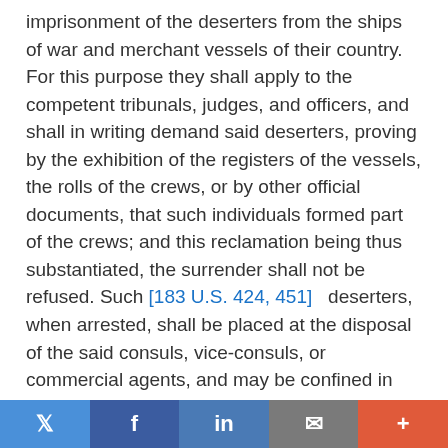imprisonment of the deserters from the ships of war and merchant vessels of their country. For this purpose they shall apply to the competent tribunals, judges, and officers, and shall in writing demand said deserters, proving by the exhibition of the registers of the vessels, the rolls of the crews, or by other official documents, that such individuals formed part of the crews; and this reclamation being thus substantiated, the surrender shall not be refused. Such [183 U.S. 424, 451]   deserters, when arrested, shall be placed at the disposal of the said consuls, vice-consuls, or commercial agents, and may be confined in the public prisons, at the request and cost of those who shall claim them, in order to be detained until the time when they shall be restored to the vessels to which they belonged, or sent back to their own country by a vessel of the same nation or any other vessel